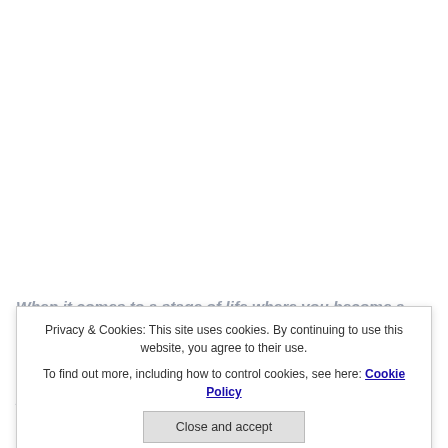When it comes to a stage of life where you become a family person, the first thing that talks about you is your home. Everybody will have a point in their life where they dream about building a house. Although different people have different taste about how their house should, but nobody want to look bad. Many people see this as a prestige issue for them. They don't consider how they
Privacy & Cookies: This site uses cookies. By continuing to use this website, you agree to their use.
To find out more, including how to control cookies, see here: Cookie Policy
Close and accept
are going to live inside, but they should impress and make